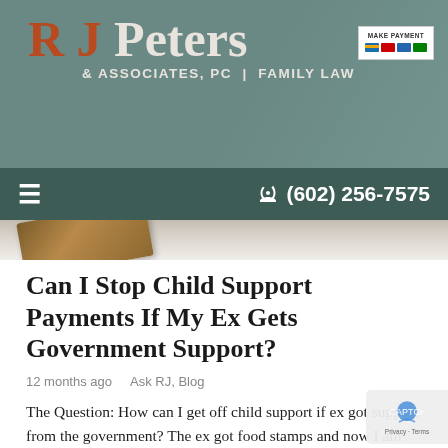[Figure (logo): RJ Peters & Associates, PC | Family Law logo with teal family photo background and Make Payment button]
≡   ✆ (602) 256-7575
Can I Stop Child Support Payments If My Ex Gets Government Support?
12 months ago    Ask RJ, Blog
The Question: How can I get off child support if ex got support from the government? The ex got food stamps and now I am paying child support.  I am…